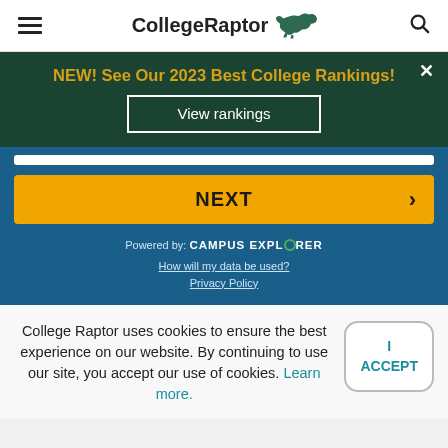CollegeRaptor [hamburger menu] [search icon]
NEW! See Our 2023 Best College Rankings!
View rankings
NEXT >
Powered by: CAMPUS EXPLORER
How will my data be used?
Privacy Policy
College Raptor uses cookies to ensure the best experience on our website. By continuing to use our site, you accept our use of cookies. Learn more.
I ACCEPT